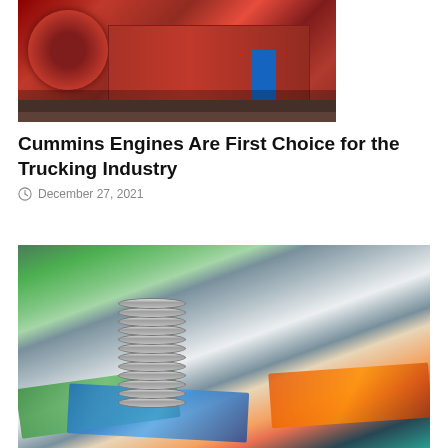[Figure (photo): Photo of large red Cummins diesel engines stored on wooden pallets in a warehouse or manufacturing facility, with blue metal stands visible]
Cummins Engines Are First Choice for the Trucking Industry
December 27, 2021
[Figure (photo): Close-up photo of a stack of silver coins on top of colorful paper banknotes (green, blue, orange), representing money and finance]